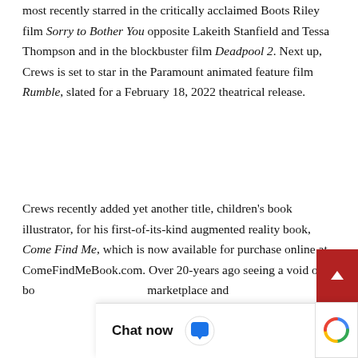most recently starred in the critically acclaimed Boots Riley film Sorry to Bother You opposite Lakeith Stanfield and Tessa Thompson and in the blockbuster film Deadpool 2. Next up, Crews is set to star in the Paramount animated feature film Rumble, slated for a February 18, 2022 theatrical release.
Crews recently added yet another title, children's book illustrator, for his first-of-its-kind augmented reality book, Come Find Me, which is now available for purchase online at ComeFindMeBook.com. Over 20-years ago seeing a void of books for... marketplace and...
[Figure (other): Chat widget overlay at bottom of page with 'Chat now' text in bold and a chat bubble icon. A red scroll-to-top button with an upward arrow is visible on the right side.]